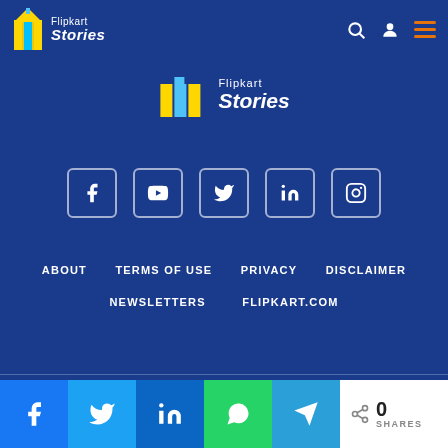[Figure (logo): Flipkart Stories logo in header (top left)]
[Figure (logo): Flipkart Stories logo centered in blue footer area]
[Figure (infographic): Social media icons row: Facebook, YouTube, Twitter, LinkedIn, Instagram]
ABOUT   TERMS OF USE   PRIVACY   DISCLAIMER
NEWSLETTERS   FLIPKART.COM
COPYRIGHT © 2022 FLIPKART STORIES ALL RIGHTS RESERVED
[Figure (infographic): Share buttons bar: Facebook, Twitter, LinkedIn, WhatsApp, Telegram share buttons, and 0 SHARES count]